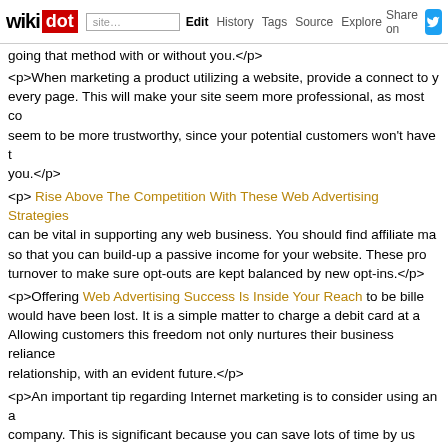wikidot | site | Edit | History | Tags | Source | Explore | Share on [twitter]
going that method with or without you.</p>
<p>When marketing a product utilizing a website, provide a connect to your every page. This will make your site seem more professional, as most co seem to be more trustworthy, since your potential customers won't have to you.</p>
<p> Rise Above The Competition With These Web Advertising Strategies can be vital in supporting any web business. You should find affiliate ma so that you can build-up a passive income for your website. These pro turnover to make sure opt-outs are kept balanced by new opt-ins.</p>
<p>Offering Web Advertising Success Is Inside Your Reach to be bille would have been lost. It is a simple matter to charge a debit card at a Allowing customers this freedom not only nurtures their business reliance relationship, with an evident future.</p>
<p>An important tip regarding Internet marketing is to consider using an a company. This is significant because you can save lots of time by us frequently asked questions, or automatically generated answers to their browse email and see which ones desire a specialized response.</p>
[Figure (photo): Broken image placeholder: content-marketing-idea-lightbulb-ss-1920.jpg]
<p>Finding this article is your first step to making successful of your web given information in your organization plan. Take the right time to absorb to your business, in order to reap the rewards.</p> - Comments: 0
Great GAMBLING Starts With These Tips - 11 Jan